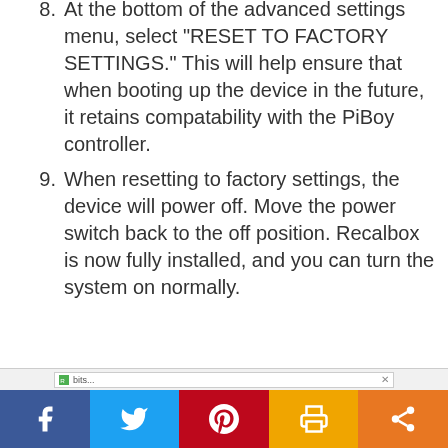8. At the bottom of the advanced settings menu, select "RESET TO FACTORY SETTINGS." This will help ensure that when booting up the device in the future, it retains compatability with the PiBoy controller.
9. When resetting to factory settings, the device will power off. Move the power switch back to the off position. Recalbox is now fully installed, and you can turn the system on normally.